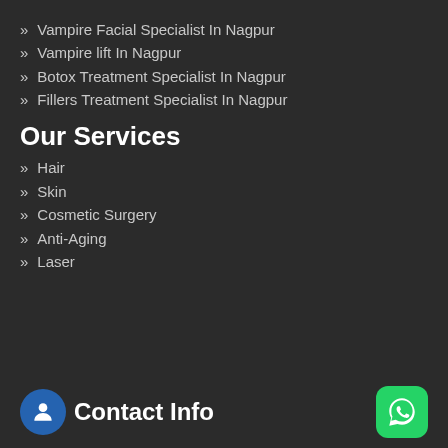Vampire Facial Specialist In Nagpur
Vampire lift In Nagpur
Botox Treatment Specialist In Nagpur
Fillers Treatment Specialist In Nagpur
Our Services
Hair
Skin
Cosmetic Surgery
Anti-Aging
Laser
Contact Info